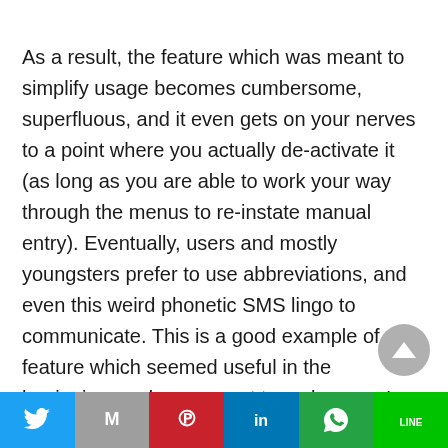As a result, the feature which was meant to simplify usage becomes cumbersome, superfluous, and it even gets on your nerves to a point where you actually de-activate it (as long as you are able to work your way through the menus to re-instate manual entry). Eventually, users and mostly youngsters prefer to use abbreviations, and even this weird phonetic SMS lingo to communicate. This is a good example of a feature which seemed useful in the beginning, and was meant to make users' lives easier but which at the end of the day is so complex